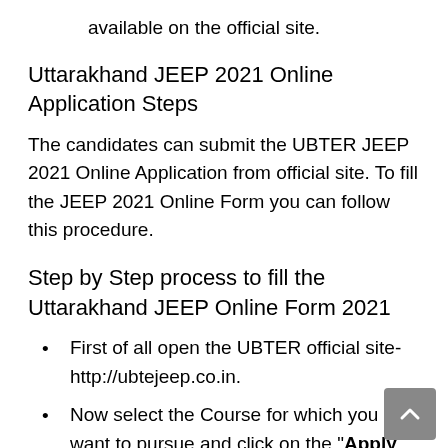available on the official site.
Uttarakhand JEEP 2021 Online Application Steps
The candidates can submit the UBTER JEEP 2021 Online Application from official site. To fill the JEEP 2021 Online Form you can follow this procedure.
Step by Step process to fill the Uttarakhand JEEP Online Form 2021
First of all open the UBTER official site- http://ubtejeep.co.in.
Now select the Course for which you want to pursue and click on the "Apply Now" link.